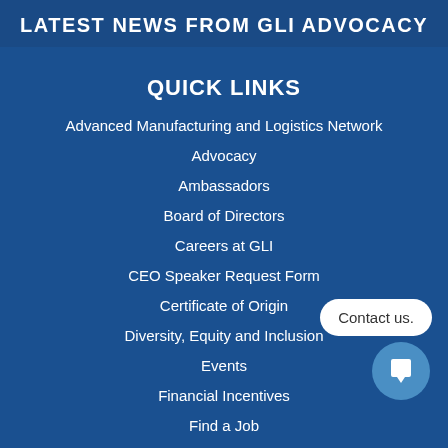LATEST NEWS FROM GLI ADVOCACY
QUICK LINKS
Advanced Manufacturing and Logistics Network
Advocacy
Ambassadors
Board of Directors
Careers at GLI
CEO Speaker Request Form
Certificate of Origin
Diversity, Equity and Inclusion
Events
Financial Incentives
Find a Job
Contact us.